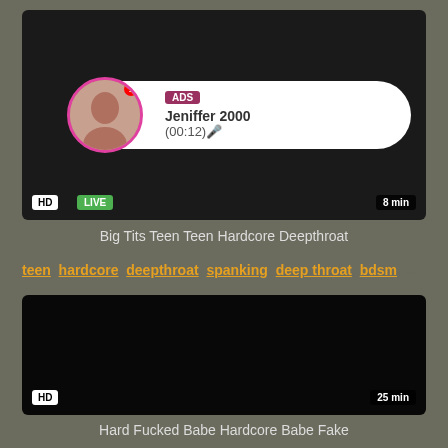[Figure (screenshot): Video thumbnail with HD badge, LIVE badge, ad overlay showing Jeniffer 2000, 8 min duration]
Big Tits Teen Teen Hardcore Deepthroat
teen, hardcore, deepthroat, spanking, deep throat, bdsm, ...
[Figure (screenshot): Dark video thumbnail with HD badge and 25 min duration]
Hard Fucked Babe Hardcore Babe Fake